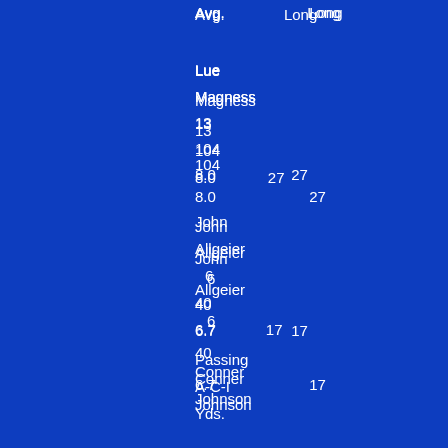| Avg. | Long |
| --- | --- |
| Lue Magness | 13 | 104 | 8.0 | 27 |
| John Allgeier | 6 | 40 | 6.7 | 17 |
| Conner Johnson | 5 | 13 | 2.6 | 5 |
| Dylan Hall | 1 | 4 | 4.0 | 4 |
Passing A-C-I Yds.